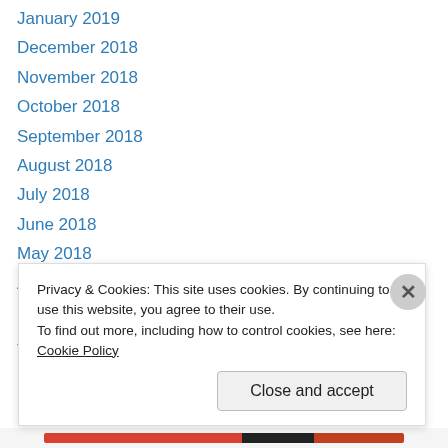January 2019
December 2018
November 2018
October 2018
September 2018
August 2018
July 2018
June 2018
May 2018
April 2018
March 2018
January 2018
December 2017
November 2017
Privacy & Cookies: This site uses cookies. By continuing to use this website, you agree to their use.
To find out more, including how to control cookies, see here: Cookie Policy
Close and accept